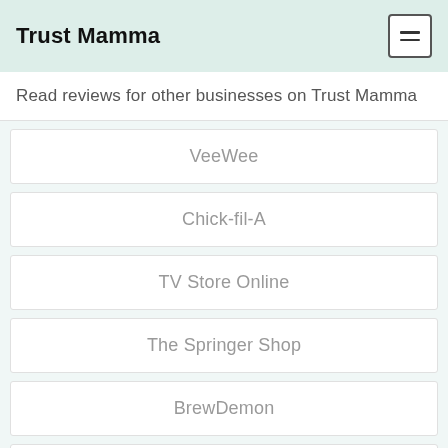Trust Mamma
Read reviews for other businesses on Trust Mamma
VeeWee
Chick-fil-A
TV Store Online
The Springer Shop
BrewDemon
Hallmark
GearXS
ASICS